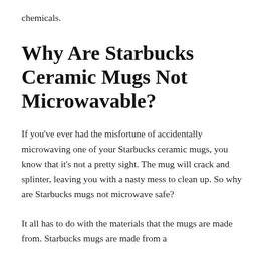chemicals.
Why Are Starbucks Ceramic Mugs Not Microwavable?
If you've ever had the misfortune of accidentally microwaving one of your Starbucks ceramic mugs, you know that it's not a pretty sight. The mug will crack and splinter, leaving you with a nasty mess to clean up. So why are Starbucks mugs not microwave safe?
It all has to do with the materials that the mugs are made from. Starbucks mugs are made from a